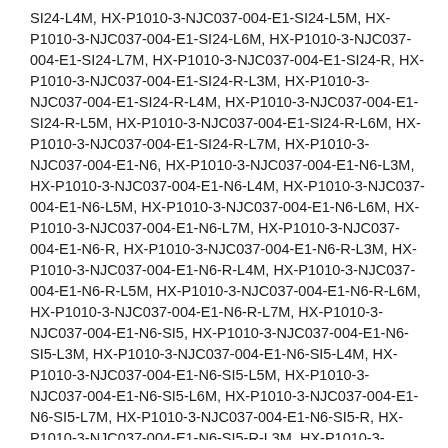SI24-L4M, HX-P1010-3-NJC037-004-E1-SI24-L5M, HX-P1010-3-NJC037-004-E1-SI24-L6M, HX-P1010-3-NJC037-004-E1-SI24-L7M, HX-P1010-3-NJC037-004-E1-SI24-R, HX-P1010-3-NJC037-004-E1-SI24-R-L3M, HX-P1010-3-NJC037-004-E1-SI24-R-L4M, HX-P1010-3-NJC037-004-E1-SI24-R-L5M, HX-P1010-3-NJC037-004-E1-SI24-R-L6M, HX-P1010-3-NJC037-004-E1-SI24-R-L7M, HX-P1010-3-NJC037-004-E1-N6, HX-P1010-3-NJC037-004-E1-N6-L3M, HX-P1010-3-NJC037-004-E1-N6-L4M, HX-P1010-3-NJC037-004-E1-N6-L5M, HX-P1010-3-NJC037-004-E1-N6-L6M, HX-P1010-3-NJC037-004-E1-N6-L7M, HX-P1010-3-NJC037-004-E1-N6-R, HX-P1010-3-NJC037-004-E1-N6-R-L3M, HX-P1010-3-NJC037-004-E1-N6-R-L4M, HX-P1010-3-NJC037-004-E1-N6-R-L5M, HX-P1010-3-NJC037-004-E1-N6-R-L6M, HX-P1010-3-NJC037-004-E1-N6-R-L7M, HX-P1010-3-NJC037-004-E1-N6-SI5, HX-P1010-3-NJC037-004-E1-N6-SI5-L3M, HX-P1010-3-NJC037-004-E1-N6-SI5-L4M, HX-P1010-3-NJC037-004-E1-N6-SI5-L5M, HX-P1010-3-NJC037-004-E1-N6-SI5-L6M, HX-P1010-3-NJC037-004-E1-N6-SI5-L7M, HX-P1010-3-NJC037-004-E1-N6-SI5-R, HX-P1010-3-NJC037-004-E1-N6-SI5-R-L3M, HX-P1010-3-NJC037-004-E1-N6-SI5-R-L4M, HX-P1010-3-NJC037-004-E1-N6-SI5-R-L5M, HX-P1010-3-NJC037-004-E1-N6-SI5-R-L6M, HX-P1010-3-NJC037-004-E1-N6-SI5-R-L7M, HX-P1010-3-NJC037-004-E1-N6-SI12, HX-P1010-3-NJC037-004-E1-N6-SI12-L3M,